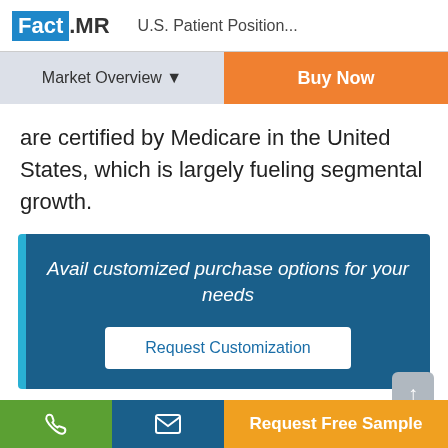Fact.MR  U.S. Patient Position...
are certified by Medicare in the United States, which is largely fueling segmental growth.
[Figure (infographic): Dark blue box with cyan left border containing italic white text 'Avail customized purchase options for your needs' and a white 'Request Customization' button]
Competitive Landscape
Phone | Email | Request Free Sample